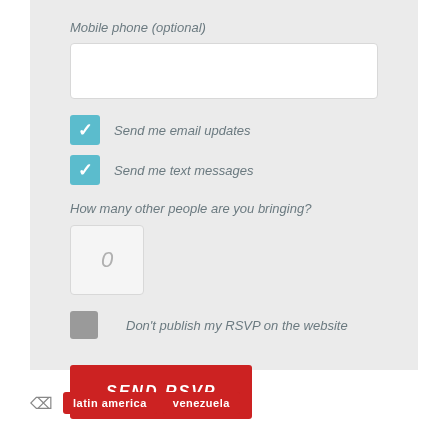Mobile phone (optional)
[Figure (screenshot): Text input field for mobile phone, empty white box]
Send me email updates (checked, teal checkbox)
Send me text messages (checked, teal checkbox)
How many other people are you bringing?
[Figure (screenshot): Small number input field showing 0]
Don't publish my RSVP on the website (unchecked, gray checkbox)
[Figure (screenshot): SEND RSVP button in red]
latin america  venezuela (tags)